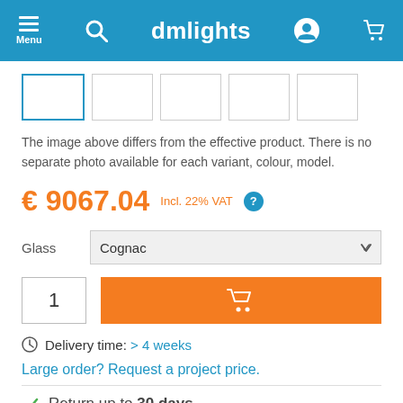dmlights
[Figure (screenshot): Product image thumbnail strip with 5 placeholder boxes, first one selected with blue border]
The image above differs from the effective product. There is no separate photo available for each variant, colour, model.
€ 9067.04  Incl. 22% VAT
Glass   Cognac
1  [Add to cart button]
Delivery time: > 4 weeks
Large order? Request a project price.
Return up to 30 days